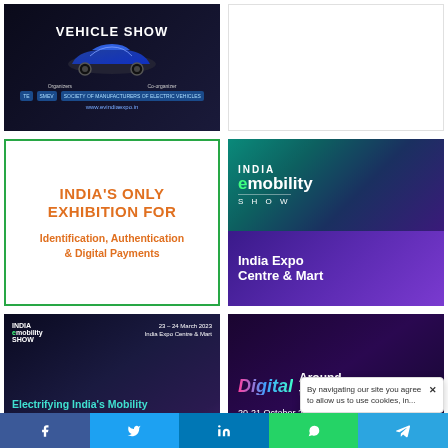[Figure (illustration): EV India Vehicle Show promotional banner with dark background, white bold text 'VEHICLE SHOW', stylized car image, organizer logos, and URL www.evindiaexpo.in]
[Figure (illustration): White/blank advertisement space]
[Figure (illustration): White box with green border. Orange bold text: 'INDIA'S ONLY EXHIBITION FOR' and below 'Identification, Authentication & Digital Payments']
[Figure (illustration): India eMobility Show banner. Teal/purple gradient top half with 'INDIA eMobility SHOW' branding. Purple bottom half with text 'India Expo Centre & Mart']
[Figure (illustration): India eMobility Show dark promotional card. Date: 23-24 March 2023, India Expo Centre & Mart. Headline: 'Electrifying India's Mobility' with descriptive text below.]
[Figure (illustration): Digital Around the World promotional banner. Dark purple background. Colorful italic 'Digital' text, 'Around the World' in white, date '20-21 October 2022', URL www.digitalerci.in]
By navigating our site you agree to allow us to use cookies, in...
f  (Facebook)  |  Twitter  |  in (LinkedIn)  |  WhatsApp  |  Telegram